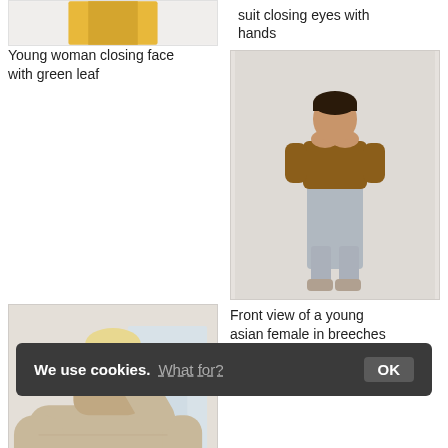[Figure (photo): Partial view of yellow dress, cropped at top]
suit closing eyes with hands
Young woman closing face with green leaf
[Figure (photo): Young asian woman in brown blouse and grey breeches, hands covering mouth, full body front view on light background]
[Figure (photo): Young blonde woman wearing a large beige knitted sweater, indoors near window]
Front view of a young asian female in breeches and blouse hiding mouth
Young woman wearing a knitted sweater
[Figure (photo): Partial bottom row image left]
[Figure (photo): Partial bottom row image right]
We use cookies. What for? OK